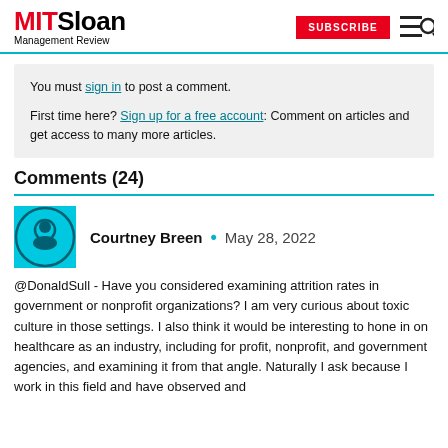MIT Sloan Management Review | SUBSCRIBE
You must sign in to post a comment.

First time here? Sign up for a free account: Comment on articles and get access to many more articles.
Comments (24)
Courtney Breen • May 28, 2022
@DonaldSull - Have you considered examining attrition rates in government or nonprofit organizations? I am very curious about toxic culture in those settings. I also think it would be interesting to hone in on healthcare as an industry, including for profit, nonprofit, and government agencies, and examining it from that angle. Naturally I ask because I work in this field and have observed and